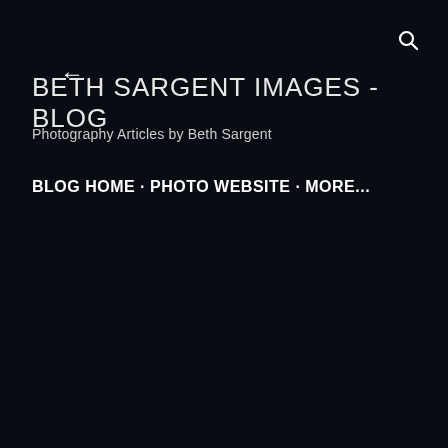← (back arrow) | (search icon)
BETH SARGENT IMAGES -BLOG
Photography Articles by Beth Sargent
BLOG HOME · PHOTO WEBSITE · MORE...